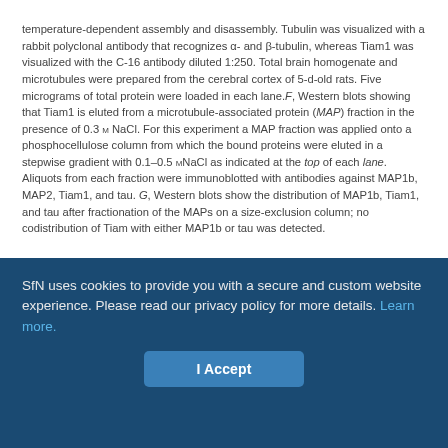temperature-dependent assembly and disassembly. Tubulin was visualized with a rabbit polyclonal antibody that recognizes α- and β-tubulin, whereas Tiam1 was visualized with the C-16 antibody diluted 1:250. Total brain homogenate and microtubules were prepared from the cerebral cortex of 5-d-old rats. Five micrograms of total protein were loaded in each lane. F, Western blots showing that Tiam1 is eluted from a microtubule-associated protein (MAP) fraction in the presence of 0.3 M NaCl. For this experiment a MAP fraction was applied onto a phosphocellulose column from which the bound proteins were eluted in a stepwise gradient with 0.1–0.5 MNaCl as indicated at the top of each lane. Aliquots from each fraction were immunoblotted with antibodies against MAP1b, MAP2, Tiam1, and tau. G, Western blots show the distribution of MAP1b, Tiam1, and tau after fractionation of the MAPs on a size-exclusion column; no codistribution of Tiam with either MAP1b or tau was detected.
To verify biochemically the association of Tiam1 with microtubules, microtubules and microtubule-binding proteins were purified from high-speed extracts of newborn rat cerebral cortex using two
SfN uses cookies to provide you with a secure and custom website experience. Please read our privacy policy for more details. Learn more.